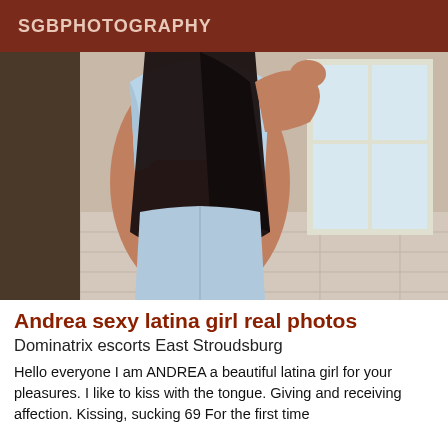SGBPHOTOGRAPHY
[Figure (photo): A young woman with long dark hair, wearing a light blue crop top and light blue denim shorts, photographed from behind in a room with a window and tiled floor.]
Andrea sexy latina girl real photos
Dominatrix escorts East Stroudsburg
Hello everyone I am ANDREA a beautiful latina girl for your pleasures. I like to kiss with the tongue. Giving and receiving affection. Kissing, sucking 69 For the first time